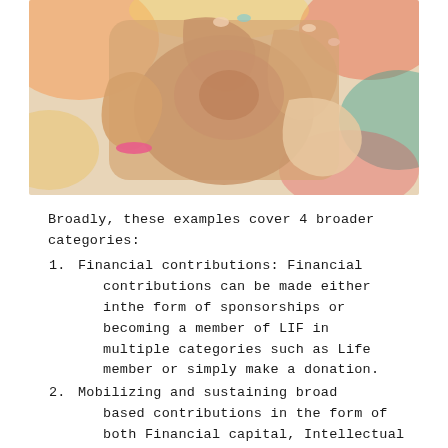[Figure (photo): Photo of multiple hands joined together from above, showing diverse skin tones with colored accessories, colorful blurred background.]
Broadly, these examples cover 4 broader categories:
Financial contributions: Financial contributions can be made either inthe form of sponsorships or becoming a member of LIF in multiple categories such as Life member or simply make a donation.
Mobilizing and sustaining broad based contributions in the form of both Financial capital, Intellectual